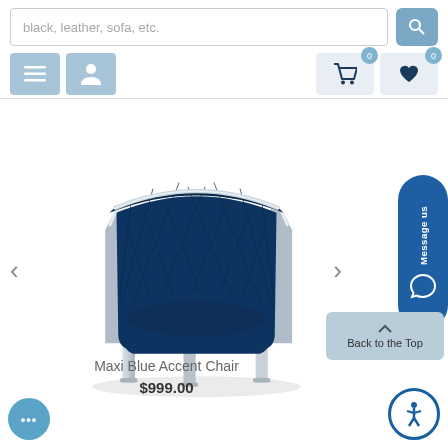black, leather, sofa, etc.
[Figure (photo): Maxi Blue Accent Chair — a navy blue velvet barrel/tub chair with diamond-quilted back and silver/chrome metal frame legs and side trims]
Maxi Blue Accent Chair
$999.00